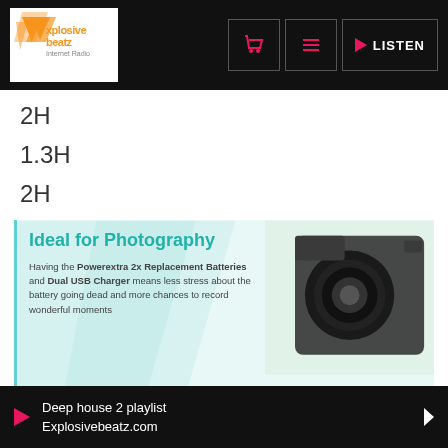[Figure (logo): Explosive Beatz Internet Radio logo with orange/yellow arrow shapes and text]
2H
1.3H
2H
[Figure (infographic): Photography product infographic: 'Ideal for Photography' heading in teal, text about Powerextra 2x Replacement Batteries and Dual USB Charger, photo of DSLR camera, battery icon with 'Long Lasting Battery' heading, '1500mAh high capacity for longer battery life than original']
Deep house 2 playlist
Explosivebeatz.com